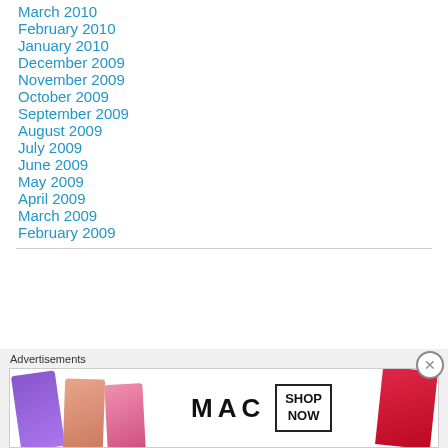March 2010
February 2010
January 2010
December 2009
November 2009
October 2009
September 2009
August 2009
July 2009
June 2009
May 2009
April 2009
March 2009
February 2009
[Figure (other): MAC cosmetics advertisement showing lipsticks in purple, peach, pink, and red colors with MAC logo and SHOP NOW button]